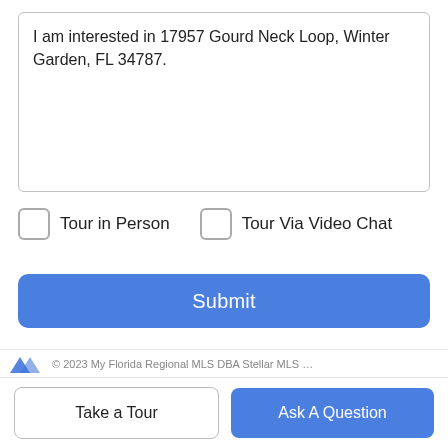I am interested in 17957 Gourd Neck Loop, Winter Garden, FL 34787.
Tour in Person
Tour Via Video Chat
Submit
Disclaimer: By entering your information and submitting this form, you agree to our Terms of Use and Privacy Policy and that you may be contacted by phone, text message and email about your inquiry.
Take a Tour
Ask A Question